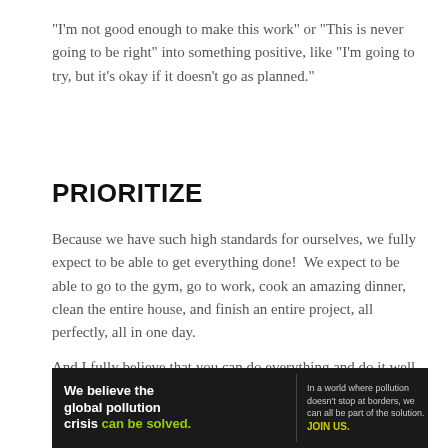“I’m not good enough to make this work” or “This is never going to be right” into something positive, like “I’m going to try, but it’s okay if it doesn’t go as planned.”
PRIORITIZE
Because we have such high standards for ourselves, we fully expect to be able to get everything done!  We expect to be able to go to the gym, go to work, cook an amazing dinner, clean the entire house, and finish an entire project, all perfectly, all in one day.
And I fully believe that you can do everything and do it well. But you can’t do it all at once. So prioritizing is key. Pick The Most Important Things, focus on them, and let the rest wait.
[Figure (other): Advertisement banner for Pure Earth: 'We believe the global pollution crisis can be solved.' with tagline about pollution not stopping at borders and call to action 'JOIN US.']